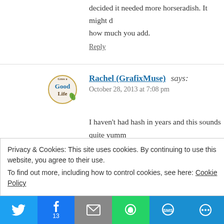decided it needed more horseradish. It might d... how much you add.
Reply
Rachel (GrafixMuse) says:
October 28, 2013 at 7:08 pm
I haven't had hash in years and this sounds quite yumm... ingredients from the garden. Thanks for sharing, I am g...
Reply
Privacy & Cookies: This site uses cookies. By continuing to use this website, you agree to their use.
To find out more, including how to control cookies, see here: Cookie Policy
[Figure (infographic): Social sharing bar with Twitter, Facebook (13), Email, WhatsApp, SMS, and More buttons]